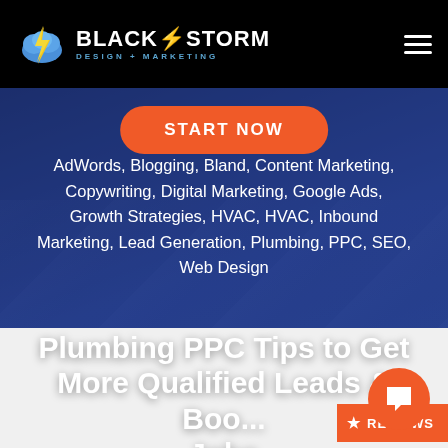[Figure (screenshot): BlackStorm Design + Marketing navigation bar with logo (cloud with lightning bolt), company name, and hamburger menu on black background]
[Figure (screenshot): Orange 'START NOW' call-to-action button]
AdWords, Blogging, Bland, Content Marketing, Copywriting, Digital Marketing, Google Ads, Growth Strategies, HVAC, HVAC, Inbound Marketing, Lead Generation, Plumbing, PPC, SEO, Web Design
Plumbing PPC Tips to Get More Qualified Leads & Boo... Jobs
[Figure (screenshot): Orange 'REVIEWS' badge with star icon on right side]
[Figure (screenshot): Orange circular chat/message button in bottom right corner]